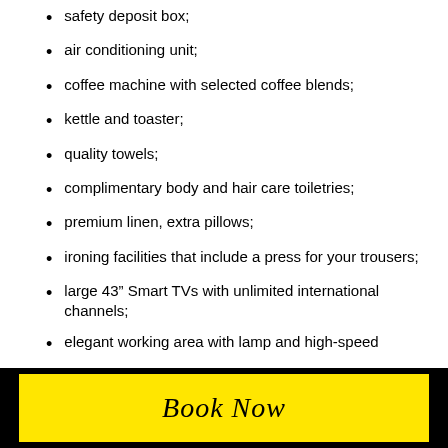safety deposit box;
air conditioning unit;
coffee machine with selected coffee blends;
kettle and toaster;
quality towels;
complimentary body and hair care toiletries;
premium linen, extra pillows;
ironing facilities that include a press for your trousers;
large 43” Smart TVs with unlimited international channels;
elegant working area with lamp and high-speed
Book Now